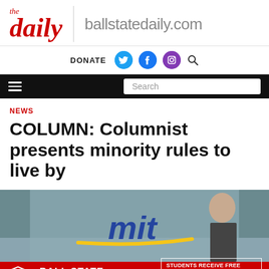the daily | ballstatedaily.com
DONATE
NEWS
COLUMN: Columnist presents minority rules to live by
[Figure (photo): Photo of students with Ball State Cardinals branding overlay. Ad bar at bottom reading: BALL STATE CARDINALS — STUDENTS RECEIVE FREE ADMISSION TO ALL SPORTING EVENTS. CLICK TO LEARN MORE.]